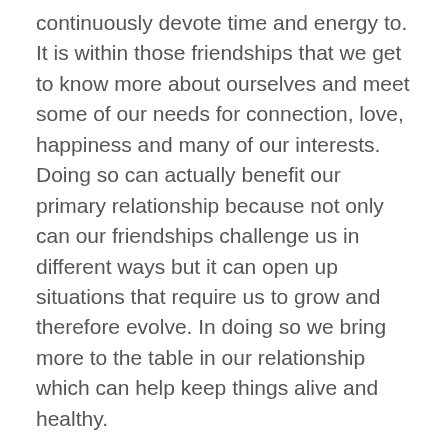continuously devote time and energy to. It is within those friendships that we get to know more about ourselves and meet some of our needs for connection, love, happiness and many of our interests. Doing so can actually benefit our primary relationship because not only can our friendships challenge us in different ways but it can open up situations that require us to grow and therefore evolve. In doing so we bring more to the table in our relationship which can help keep things alive and healthy.
As in all of our relationships it can be easy to take our friendships for granted. We have days each year that we celebrate all those in our lives that